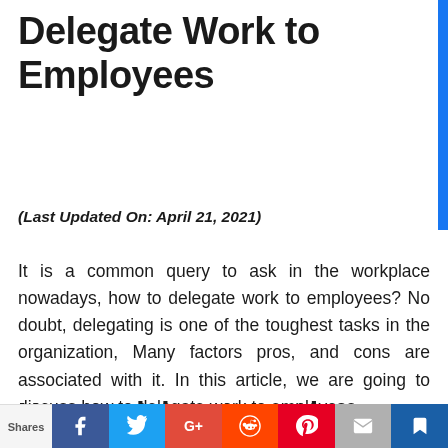Delegate Work to Employees
(Last Updated On: April 21, 2021)
It is a common query to ask in the workplace nowadays, how to delegate work to employees? No doubt, delegating is one of the toughest tasks in the organization, Many factors pros, and cons are associated with it. In this article, we are going to discuss how to delegate work to employees.
How to delegate work to
Shares